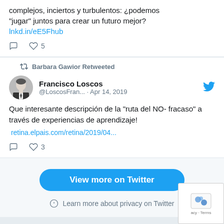complejos, inciertos y turbulentos: ¿podemos "jugar" juntos para crear un futuro mejor?
lnkd.in/eE5Fhub
Barbara Gawior Retweeted
Francisco Loscos @LoscosFran... · Apr 14, 2019
Que interesante descripción de la "ruta del NO- fracaso" a través de experiencias de aprendizaje!
retina.elpais.com/retina/2019/04...
View more on Twitter
Learn more about privacy on Twitter